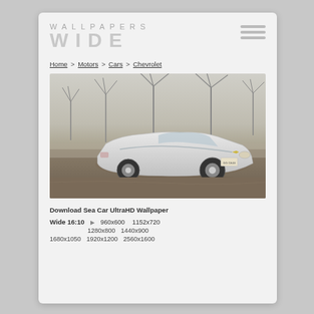WALLPAPERS WIDE
Home > Motors > Cars > Chevrolet
[Figure (photo): White Chevrolet Camaro convertible parked on a dirt road with wind turbines in the background, sepia-toned sky.]
Download Sea Car UltraHD Wallpaper
Wide 16:10   ▶   960x600   1152x720   1280x800   1440x900   1680x1050   1920x1200   2560x1600